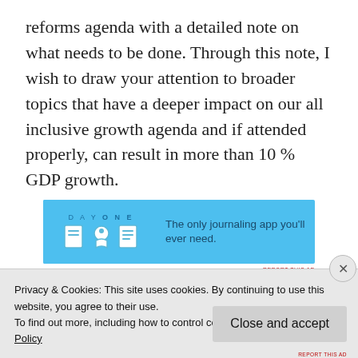reforms agenda with a detailed note on what needs to be done. Through this note, I wish to draw your attention to broader topics that have a deeper impact on our all inclusive growth agenda and if attended properly, can result in more than 10 % GDP growth.
[Figure (other): Advertisement banner for Day One journaling app with blue background, icons and text: 'The only journaling app you'll ever need.']
Privacy & Cookies: This site uses cookies. By continuing to use this website, you agree to their use.
To find out more, including how to control cookies, see here: Cookie Policy